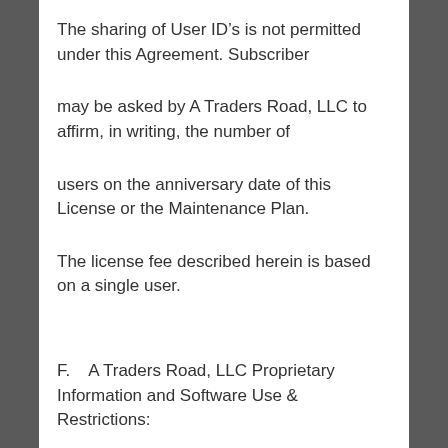The sharing of User ID’s is not permitted under this Agreement. Subscriber
may be asked by A Traders Road, LLC to affirm, in writing, the number of
users on the anniversary date of this License or the Maintenance Plan.
The license fee described herein is based on a single user.
F.   A Traders Road, LLC Proprietary Information and Software Use & Restrictions: